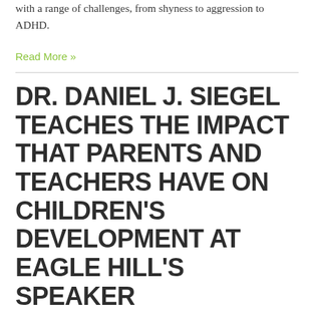with a range of challenges, from shyness to aggression to ADHD.
Read More »
DR. DANIEL J. SIEGEL TEACHES THE IMPACT THAT PARENTS AND TEACHERS HAVE ON CHILDREN'S DEVELOPMENT AT EAGLE HILL'S SPEAKER SERIES